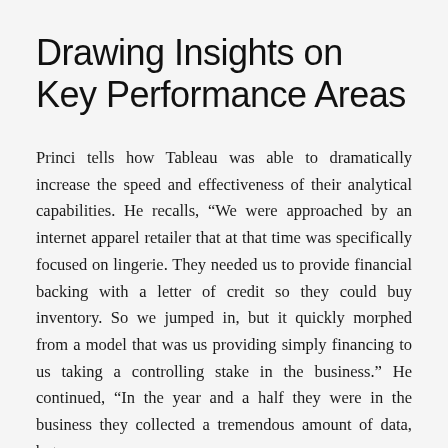Drawing Insights on Key Performance Areas
Princi tells how Tableau was able to dramatically increase the speed and effectiveness of their analytical capabilities. He recalls, “We were approached by an internet apparel retailer that at that time was specifically focused on lingerie. They needed us to provide financial backing with a letter of credit so they could buy inventory. So we jumped in, but it quickly morphed from a model that was us providing simply financing to us taking a controlling stake in the business.” He continued, “In the year and a half they were in the business they collected a tremendous amount of data, but